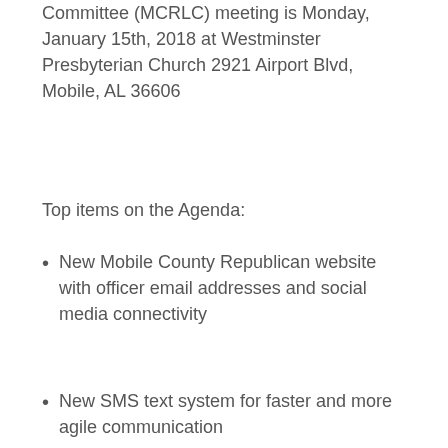Committee (MCRLC) meeting is Monday, January 15th, 2018 at Westminster Presbyterian Church 2921 Airport Blvd, Mobile, AL 36606
Top items on the Agenda:
New Mobile County Republican website with officer email addresses and social media connectivity
New SMS text system for faster and more agile communication